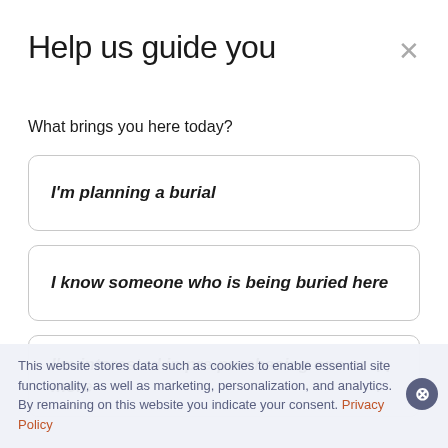Help us guide you
What brings you here today?
I'm planning a burial
I know someone who is being buried here
I'm interested in pre-purchasing one or more ...
This website stores data such as cookies to enable essential site functionality, as well as marketing, personalization, and analytics. By remaining on this website you indicate your consent. Privacy Policy